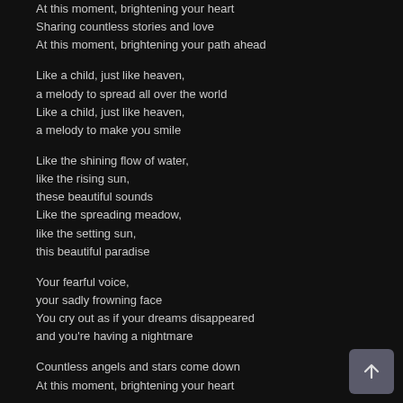At this moment, brightening your heart
Sharing countless stories and love
At this moment, brightening your path ahead

Like a child, just like heaven,
a melody to spread all over the world
Like a child, just like heaven,
a melody to make you smile

Like the shining flow of water,
like the rising sun,
these beautiful sounds
Like the spreading meadow,
like the setting sun,
this beautiful paradise

Your fearful voice,
your sadly frowning face
You cry out as if your dreams disappeared
and you're having a nightmare

Countless angels and stars come down
At this moment, brightening your heart
[Figure (other): Scroll-to-top button in the bottom-right corner, dark gray rounded square with an upward arrow icon.]